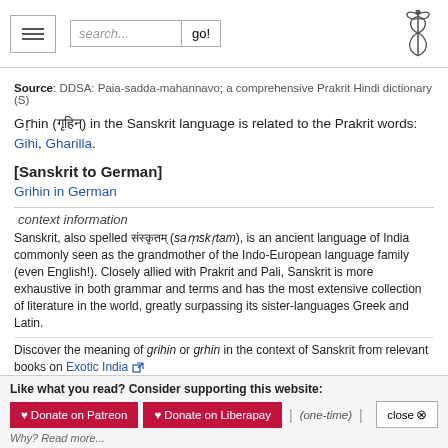Navigation bar with hamburger menu, search box, and caduceus logo
Source: DDSA: Paia-sadda-mahannavo; a comprehensive Prakrit Hindi dictionary (S)
Gṛhin (गृहिन्) in the Sanskrit language is related to the Prakrit words: Gihi, Gharilla.
[Sanskrit to German]
Grihin in German
context information
Sanskrit, also spelled संस्कृतम् (saṃskṛtam), is an ancient language of India commonly seen as the grandmother of the Indo-European language family (even English!). Closely allied with Prakrit and Pali, Sanskrit is more exhaustive in both grammar and terms and has the most extensive collection of literature in the world, greatly surpassing its sister-languages Greek and Latin.
Discover the meaning of grihin or grhin in the context of Sanskrit from relevant books on Exotic India
Kannada-English dictionary
Like what you read? Consider supporting this website:
♥ Donate on Patreon   ♥ Donate on Liberapay   | (one-time) |   close ⊗
Why? Read more...